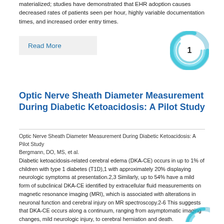materialized; studies have demonstrated that EHR adoption causes decreased rates of patients seen per hour, highly variable documentation times, and increased order entry times.
Read More
[Figure (other): Circular teal/blue swirl badge with number 1 in the center]
Optic Nerve Sheath Diameter Measurement During Diabetic Ketoacidosis: A Pilot Study
Optic Nerve Sheath Diameter Measurement During Diabetic Ketoacidosis: A Pilot Study
Bergmann, DO, MS, et al.
Diabetic ketoacidosis-related cerebral edema (DKA-CE) occurs in up to 1% of children with type 1 diabetes (T1D),1 with approximately 20% displaying neurologic symptoms at presentation.2,3 Similarly, up to 54% have a mild form of subclinical DKA-CE identified by extracellular fluid measurements on magnetic resonance imaging (MRI), which is associated with alterations in neuronal function and cerebral injury on MR spectroscopy.2-6 This suggests that DKA-CE occurs along a continuum, ranging from asymptomatic imaging changes, mild neurologic injury, to cerebral herniation and death.
[Figure (other): Partial circular teal/blue swirl badge visible at bottom right corner]